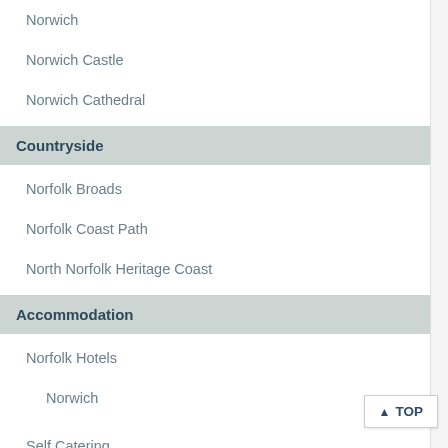Norwich
Norwich Castle
Norwich Cathedral
Countryside
Norfolk Broads
Norfolk Coast Path
North Norfolk Heritage Coast
Accommodation
Norfolk Hotels
Norwich
Self Catering
Bed & Breakfast